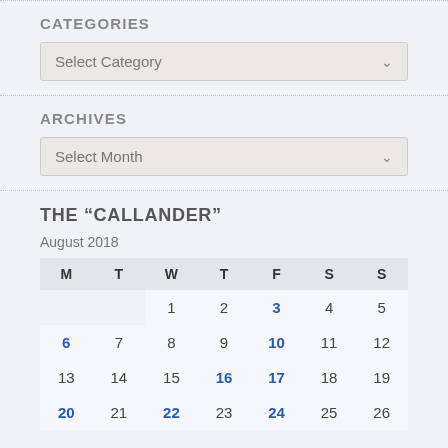CATEGORIES
Select Category
ARCHIVES
Select Month
THE “CALLANDER”
August 2018
| M | T | W | T | F | S | S |
| --- | --- | --- | --- | --- | --- | --- |
|  |  | 1 | 2 | 3 | 4 | 5 |
| 6 | 7 | 8 | 9 | 10 | 11 | 12 |
| 13 | 14 | 15 | 16 | 17 | 18 | 19 |
| 20 | 21 | 22 | 23 | 24 | 25 | 26 |